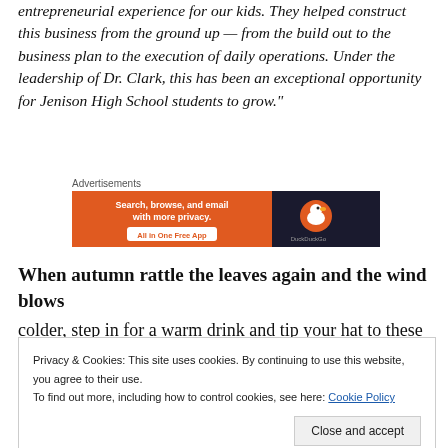entrepreneurial experience for our kids. They helped construct this business from the ground up — from the build out to the business plan to the execution of daily operations. Under the leadership of Dr. Clark, this has been an exceptional opportunity for Jenison High School students to grow."
Advertisements
[Figure (screenshot): DuckDuckGo advertisement banner: orange section with white bold text 'Search, browse, and email with more privacy.' and button 'All in One Free App'; dark section with DuckDuckGo duck logo and text 'DuckDuckGo']
When autumn rattle the leaves again and the wind blows
colder, step in for a warm drink and tip your hat to these
Privacy & Cookies: This site uses cookies. By continuing to use this website, you agree to their use.
To find out more, including how to control cookies, see here: Cookie Policy
Close and accept